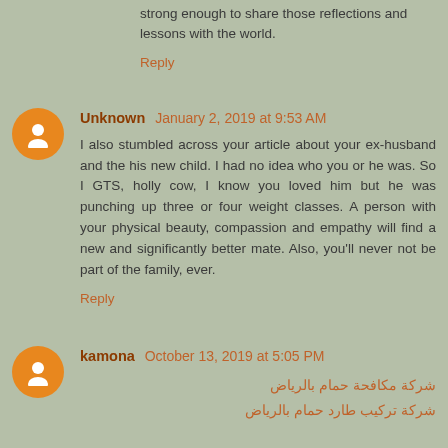strong enough to share those reflections and lessons with the world.
Reply
Unknown  January 2, 2019 at 9:53 AM
I also stumbled across your article about your ex-husband and the his new child. I had no idea who you or he was. So I GTS, holly cow, I know you loved him but he was punching up three or four weight classes. A person with your physical beauty, compassion and empathy will find a new and significantly better mate. Also, you'll never not be part of the family, ever.
Reply
kamona  October 13, 2019 at 5:05 PM
شركة مكافحة حمام بالرياض
شركة تركيب طارد حمام بالرياض